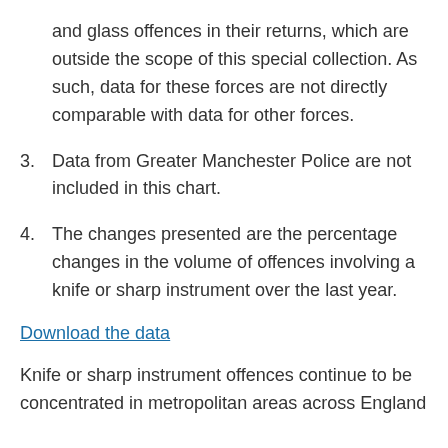and glass offences in their returns, which are outside the scope of this special collection. As such, data for these forces are not directly comparable with data for other forces.
3. Data from Greater Manchester Police are not included in this chart.
4. The changes presented are the percentage changes in the volume of offences involving a knife or sharp instrument over the last year.
Download the data
Knife or sharp instrument offences continue to be concentrated in metropolitan areas across England